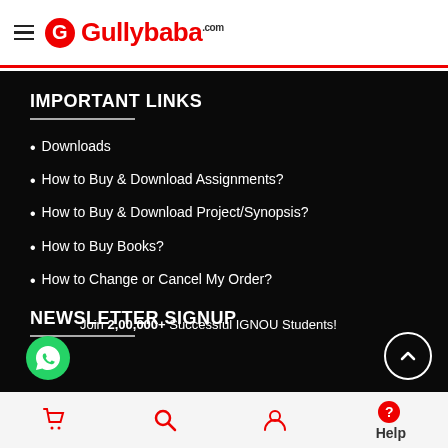Gullybaba.com
IMPORTANT LINKS
Downloads
How to Buy & Download Assignments?
How to Buy & Download Project/Synopsis?
How to Buy Books?
How to Change or Cancel My Order?
NEWSLETTER SIGNUP
Join 2,00,000+ Successful IGNOU Students!
Cart | Search | Account | Help